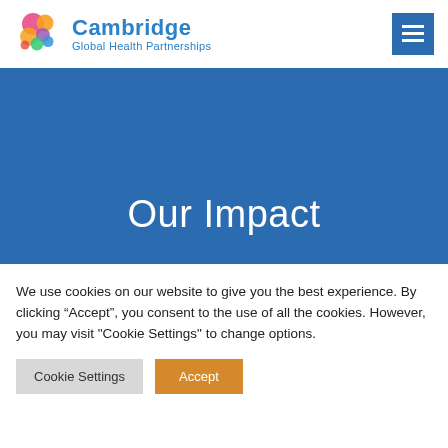Cambridge Global Health Partnerships
Our Impact
We use cookies on our website to give you the best experience. By clicking “Accept”, you consent to the use of all the cookies. However, you may visit "Cookie Settings" to change options.
Cookie Settings | Accept